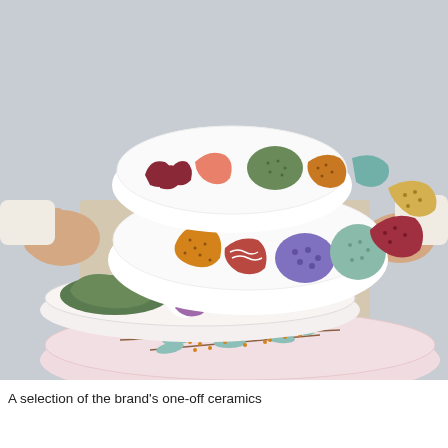[Figure (photo): A person holding a stack of hand-painted ceramic bowls and plates with colorful abstract and botanical patterns including abstract shapes in green, purple, orange, red, teal, and pink on a white background.]
A selection of the brand’s one-off ceramics